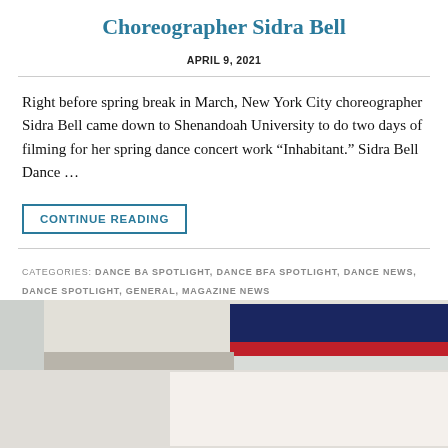Choreographer Sidra Bell
APRIL 9, 2021
Right before spring break in March, New York City choreographer Sidra Bell came down to Shenandoah University to do two days of filming for her spring dance concert work “Inhabitant.” Sidra Bell Dance …
CONTINUE READING
CATEGORIES: DANCE BA SPOTLIGHT, DANCE BFA SPOTLIGHT, DANCE NEWS, DANCE SPOTLIGHT, GENERAL, MAGAZINE NEWS
[Figure (photo): Indoor photo showing a dance studio or university building with a large blue and red banner on the wall, windows on the right side, and signage in the lower center area.]